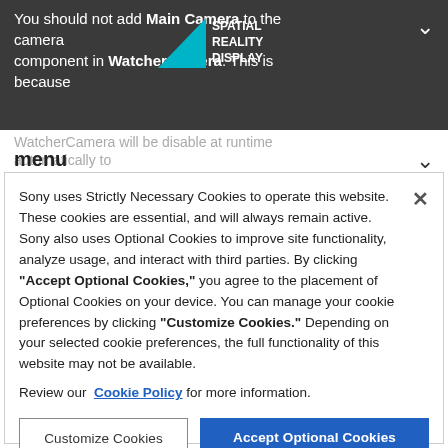You should not add Main Camera to the camera component in WatcherCamera. This is because
WatcherCamera will be disable at runtime automatically to reduce the processing load, and you cannot get the
menu
Sony uses Strictly Necessary Cookies to operate this website. These cookies are essential, and will always remain active. Sony also uses Optional Cookies to improve site functionality, analyze usage, and interact with third parties. By clicking "Accept Optional Cookies," you agree to the placement of Optional Cookies on your device. You can manage your cookie preferences by clicking "Customize Cookies." Depending on your selected cookie preferences, the full functionality of this website may not be available.

Review our Cookie Policy for more information.
Customize Cookies
Accept Optional Cookies